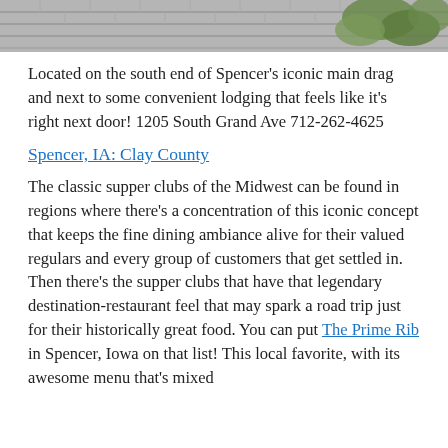[Figure (photo): Partial photo at top of page showing a building with shingle roof and greenery/plants]
Located on the south end of Spencer's iconic main drag and next to some convenient lodging that feels like it's right next door! 1205 South Grand Ave 712-262-4625
Spencer, IA: Clay County
The classic supper clubs of the Midwest can be found in regions where there's a concentration of this iconic concept that keeps the fine dining ambiance alive for their valued regulars and every group of customers that get settled in. Then there's the supper clubs that have that legendary destination-restaurant feel that may spark a road trip just for their historically great food. You can put The Prime Rib in Spencer, Iowa on that list! This local favorite, with its awesome menu that's mixed